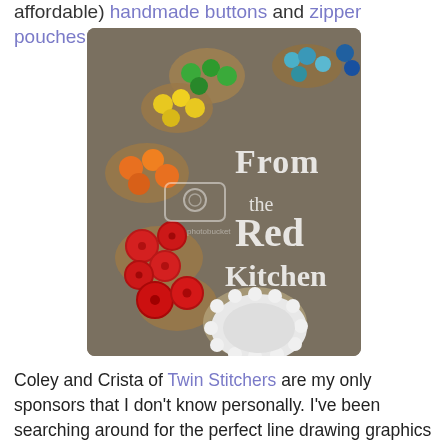affordable) handmade buttons and zipper pouches.
[Figure (photo): A photo of colorful handmade clay buttons on cardboard rounds. Various colors including green, blue, yellow, orange, red, and white. Text overlay reads 'From the Red Kitchen'. A photobucket watermark is visible.]
Coley and Crista of Twin Stitchers are my only sponsors that I don't know personally.  I've been searching around for the perfect line drawing graphics for a Christmas project I'm planning (more on that to come soon).  Not only did I find what I needed in Twin Stitchers doodle people embroidery patterns, but they had so many other adorable patterns that I